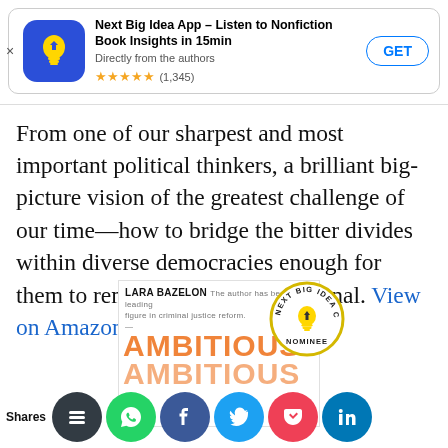[Figure (screenshot): App store ad banner for 'Next Big Idea App – Listen to Nonfiction Book Insights in 15min', with app icon, star rating (1,345), and GET button]
From one of our sharpest and most important political thinkers, a brilliant big-picture vision of the greatest challenge of our time—how to bridge the bitter divides within diverse democracies enough for them to remain stable and functional. View on Amazon
[Figure (photo): Book cover for 'Ambitious' by Lara Bazelon with Next Big Idea Club nominee badge, partially cropped, with social share buttons below: Buffer, WhatsApp, Facebook, Twitter, Pocket, LinkedIn]